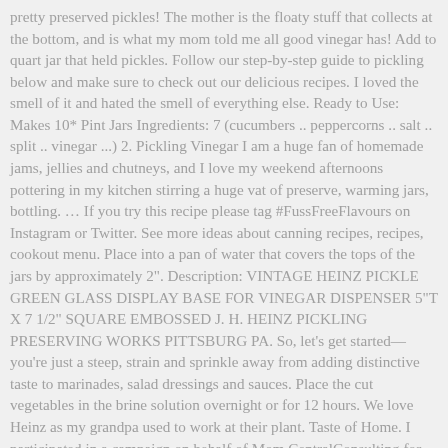pretty preserved pickles! The mother is the floaty stuff that collects at the bottom, and is what my mom told me all good vinegar has! Add to quart jar that held pickles. Follow our step-by-step guide to pickling below and make sure to check out our delicious recipes. I loved the smell of it and hated the smell of everything else. Ready to Use: Makes 10* Pint Jars Ingredients: 7 (cucumbers .. peppercorns .. salt .. split .. vinegar ...) 2. Pickling Vinegar I am a huge fan of homemade jams, jellies and chutneys, and I love my weekend afternoons pottering in my kitchen stirring a huge vat of preserve, warming jars, bottling. ... If you try this recipe please tag #FussFreeFlavours on Instagram or Twitter. See more ideas about canning recipes, recipes, cookout menu. Place into a pan of water that covers the tops of the jars by approximately 2". Description: VINTAGE HEINZ PICKLE GREEN GLASS DISPLAY BASE FOR VINEGAR DISPENSER 5"T X 7 1/2" SQUARE EMBOSSED J. H. HEINZ PICKLING PRESERVING WORKS PITTSBURG PA. So, let’s get started—you’re just a steep, strain and sprinkle away from adding distinctive taste to marinades, salad dressings and sauces. Place the cut vegetables in the brine solution overnight or for 12 hours. We love Heinz as my grandpa used to work at their plant. Taste of Home. I participated in a campaign on behalf of Mom CentralConsulting for Heinz Vinegar. Apple cider vinegar can